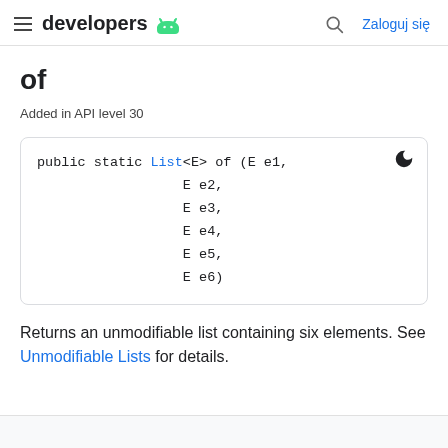developers | Zaloguj się
of
Added in API level 30
public static List<E> of (E e1,
                  E e2,
                  E e3,
                  E e4,
                  E e5,
                  E e6)
Returns an unmodifiable list containing six elements. See Unmodifiable Lists for details.